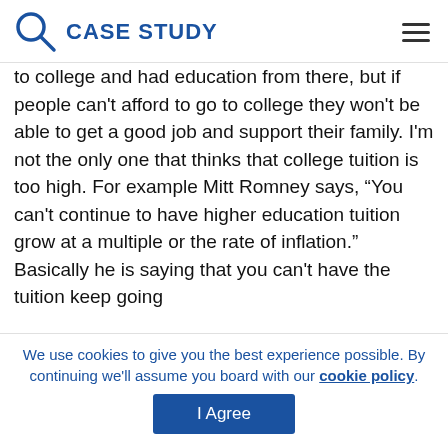CASE STUDY
to college and had education from there, but if people can't afford to go to college they won't be able to get a good job and support their family. I'm not the only one that thinks that college tuition is too high. For example Mitt Romney says, “You can't continue to have higher education tuition grow at a multiple or the rate of inflation.” Basically he is saying that you can't have the tuition keep going
We use cookies to give you the best experience possible. By continuing we'll assume you board with our cookie policy.